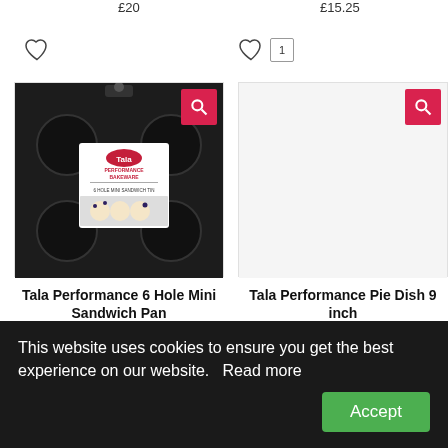£20
£15.25
[Figure (screenshot): Heart/wishlist icon (left product)]
[Figure (screenshot): Heart/wishlist icon with badge showing 1 (right product)]
[Figure (photo): Tala Performance 6 Hole Mini Sandwich Pan product image in dark bakeware]
[Figure (photo): Tala Performance Pie Dish 9 inch - blank/no image loaded]
Tala Performance 6 Hole Mini Sandwich Pan
Tala Performance Pie Dish 9 inch
This website uses cookies to ensure you get the best experience on our website.  Read more
Accept